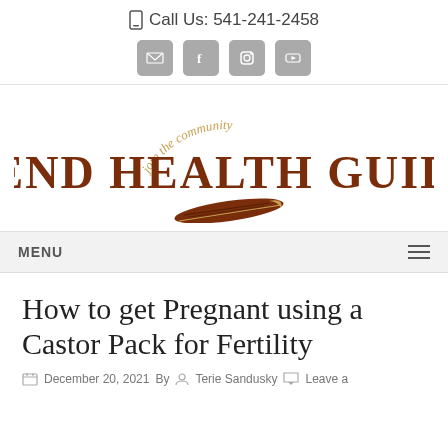📱 Call Us: 541-241-2458
[Figure (logo): Bend Health Guide logo with feather quill and 'join the community' tagline in cursive orange text above the main logo text in brown serif font]
MENU
How to get Pregnant using a Castor Pack for Fertility
December 20, 2021 By  Terie Sandusky  Leave a